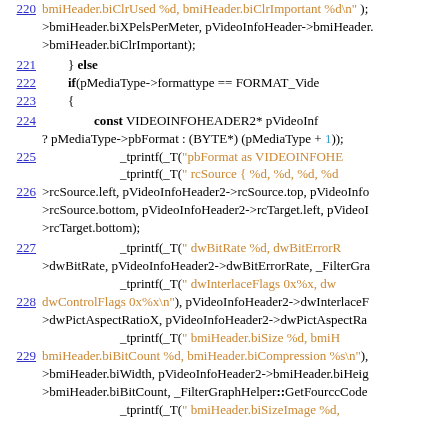220  bmiHeader.biClrUsed %d, bmiHeader.biClrImportant %d\n"), >bmiHeader.biXPelsPerMeter, pVideoInfoHeader->bmiHeader >bmiHeader.biClrImportant);
221  } else
222  if(pMediaType->formattype == FORMAT_Vide
223  {
224  const VIDEOINFOHEADER2* pVideoInf ? pMediaType->pbFormat : (BYTE*) (pMediaType + 1));
225  _tprintf(_T("pbFormat as VIDEOINFOHE... _tprintf(_T(" rcSource { %d, %d, %d, %d
226  >rcSource.left, pVideoInfoHeader2->rcSource.top, pVideoInfo >rcSource.bottom, pVideoInfoHeader2->rcTarget.left, pVideo >rcTarget.bottom);
227  _tprintf(_T(" dwBitRate %d, dwBitErrorR >dwBitRate, pVideoInfoHeader2->dwBitErrorRate, _FilterGra _tprintf(_T(" dwInterlaceFlags 0x%x, dw
228  dwControlFlags 0x%x\n"), pVideoInfoHeader2->dwInterlaceF >dwPictAspectRatioX, pVideoInfoHeader2->dwPictAspectRa _tprintf(_T(" bmiHeader.biSize %d, bmiH
229  bmiHeader.biBitCount %d, bmiHeader.biCompression %s\n"), >bmiHeader.biWidth, pVideoInfoHeader2->bmiHeader.biHeig >bmiHeader.biBitCount, _FilterGraphHelper::GetFourccCode _tprintf(_T(" bmiHeader.biSizeImage %d,